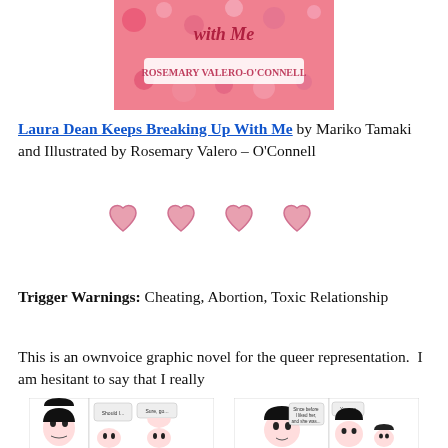[Figure (photo): Book cover of 'Laura Dean Keeps Breaking Up With Me' with pink floral design and text 'ROSEMARY VALERO-O'CONNELL']
Laura Dean Keeps Breaking Up With Me by Mariko Tamaki and Illustrated by Rosemary Valero – O'Connell
[Figure (infographic): Four pink heart rating icons in a row]
Trigger Warnings: Cheating, Abortion, Toxic Relationship
This is an ownvoice graphic novel for the queer representation.  I am hesitant to say that I really
[Figure (photo): Two comic strip panel images from the graphic novel showing manga-style characters]